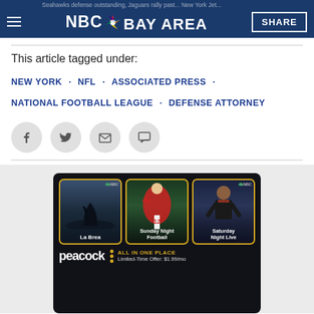NBC Bay Area
This article tagged under:
NEW YORK · NFL · ASSOCIATED PRESS · NATIONAL FOOTBALL LEAGUE · DEFENSE ATTORNEY
[Figure (screenshot): Social share buttons: Facebook, Twitter, Email, Comment]
[Figure (screenshot): NBC Peacock advertisement showing three shows: La Brea, Sunday Night Football, Saturday Night Live. Bottom text: ALL IN ONE PLACE, Limited-Time Offer: $1.99/mo. Peacock logo shown.]